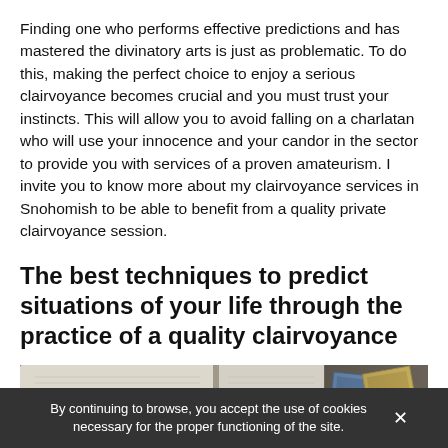Finding one who performs effective predictions and has mastered the divinatory arts is just as problematic. To do this, making the perfect choice to enjoy a serious clairvoyance becomes crucial and you must trust your instincts. This will allow you to avoid falling on a charlatan who will use your innocence and your candor in the sector to provide you with services of a proven amateurism. I invite you to know more about my clairvoyance services in Snohomish to be able to benefit from a quality private clairvoyance session.
The best techniques to predict situations of your life through the practice of a quality clairvoyance
[Figure (photo): An open book with visible pages on the left, partially overlapping tarot cards on the right, set on a dark surface.]
By continuing to browse, you accept the use of cookies necessary for the proper functioning of the site.